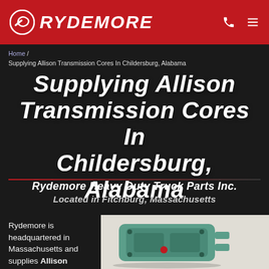RYDEMORE
Home / Supplying Allison Transmission Cores In Childersburg, Alabama
Supplying Allison Transmission Cores In Childersburg, Alabama
Rydemore Heavy Duty Truck Parts Inc. Located in Fitchburg, Massachusetts
Rydemore is headquartered in Massachusetts and supplies Allison
[Figure (photo): A teal/green colored Allison transmission core unit photographed against a light background]